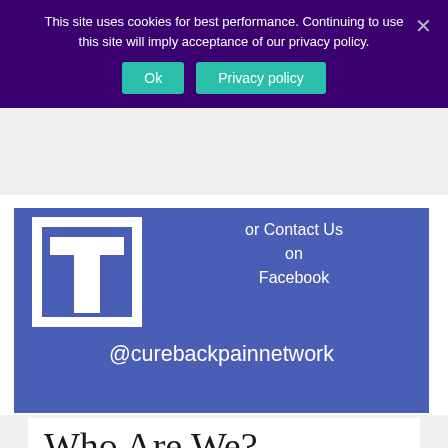This site uses cookies for best performance. Continuing to use this site will imply acceptance of our privacy policy.
[Figure (screenshot): Cookie consent banner with Ok and Privacy policy buttons on purple background with close X]
[Figure (illustration): Facebook page image showing stylized T/f logo on blue background with text 'or Contact Us on Facebook @curebackpainnetwork']
Who Are We?